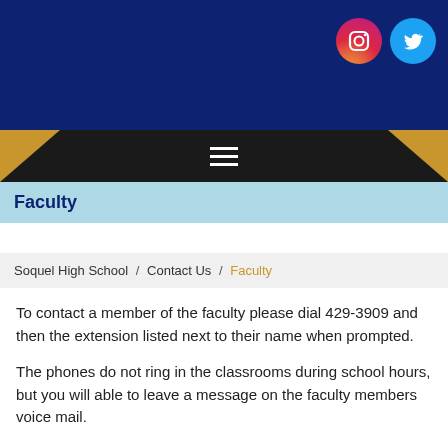[Figure (screenshot): Dark blue school header banner with Instagram and Twitter social media icons in top right]
[Figure (screenshot): Black navigation bar with hamburger menu icon and gold chevron accents on left and right]
Faculty
Soquel High School / Contact Us / Faculty
To contact a member of the faculty please dial 429-3909 and then the extension listed next to their name when prompted.
The phones do not ring in the classrooms during school hours, but you will able to leave a message on the faculty members voice mail.